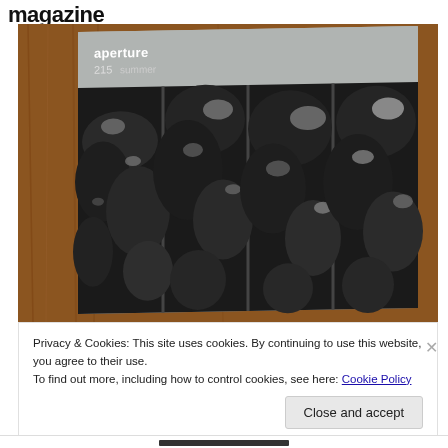magazine
[Figure (photo): Photo of an Aperture magazine issue 215 propped against a wooden surface. The magazine cover shows a black and white photograph of tropical foliage viewed through a window grid. The magazine cover is gray with 'aperture 215' text in white in the upper left corner.]
Privacy & Cookies: This site uses cookies. By continuing to use this website, you agree to their use.
To find out more, including how to control cookies, see here: Cookie Policy
Close and accept